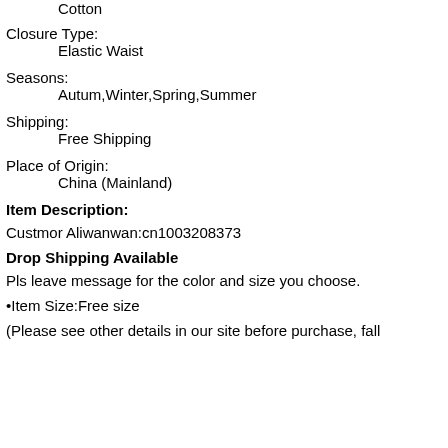Cotton
Closure Type:
        Elastic Waist
Seasons:
        Autum,Winter,Spring,Summer
Shipping:
        Free Shipping
Place of Origin:
        China (Mainland)
Item Description:
Custmor Aliwanwan:cn1003208373
Drop Shipping Available
Pls leave message for the color and size you choose.
•Item Size:Free size
(Please see other details in our site before purchase, fall...